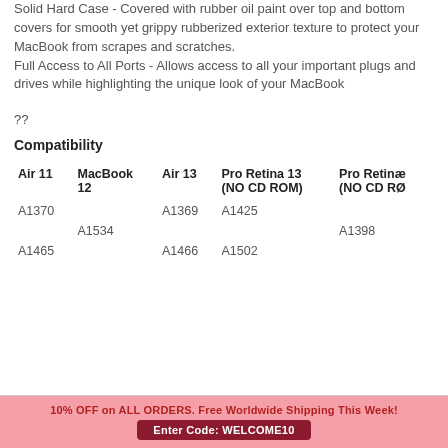Solid Hard Case - Covered with rubber oil paint over top and bottom covers for smooth yet grippy rubberized exterior texture to protect your MacBook from scrapes and scratches. Full Access to All Ports - Allows access to all your important plugs and drives while highlighting the unique look of your MacBook
??
Compatibility
| Air 11 | MacBook 12 | Air 13 | Pro Retina 13 (NO CD ROM) | Pro Retina (NO CD RO… |
| --- | --- | --- | --- | --- |
| A1370 |  | A1369 | A1425 |  |
|  | A1534 |  |  | A1398 |
| A1465 |  | A1466 | A1502 |  |
10% OFF on ALL ORDERS. Free Worldwide Shipping This Week!
Enter Code: WELCOME10